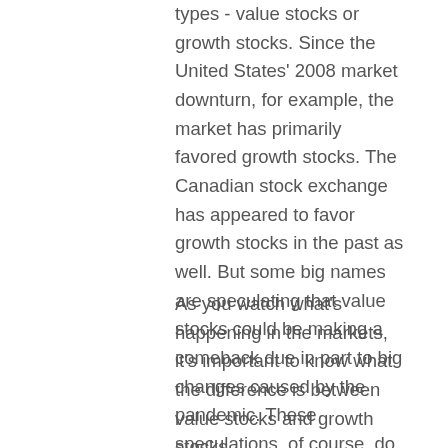types - value stocks or growth stocks. Since the United States' 2008 market downturn, for example, the market has primarily favored growth stocks. The Canadian stock exchange has appeared to favor growth stocks in the past as well. But some big names are speculating that value stocks could be making a comeback due in part to big changes caused by the pandemic. These speculations, of course, do not guarantee performance.
As you watch what's happening in the markets, it's important to know what the difference is between value stocks and growth stocks.